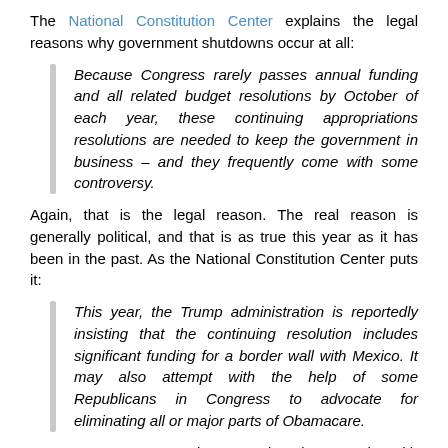The National Constitution Center explains the legal reasons why government shutdowns occur at all:
Because Congress rarely passes annual funding and all related budget resolutions by October of each year, these continuing appropriations resolutions are needed to keep the government in business – and they frequently come with some controversy.
Again, that is the legal reason. The real reason is generally political, and that is as true this year as it has been in the past. As the National Constitution Center puts it:
This year, the Trump administration is reportedly insisting that the continuing resolution includes significant funding for a border wall with Mexico. It may also attempt with the help of some Republicans in Congress to advocate for eliminating all or major parts of Obamacare.
I can't comment on the part that has to do with Obamacare, because there hasn't been a lot of discussion about that, and it is outside my area of expertise. I can (and have) commented on the part that has to do with the border wall, but...